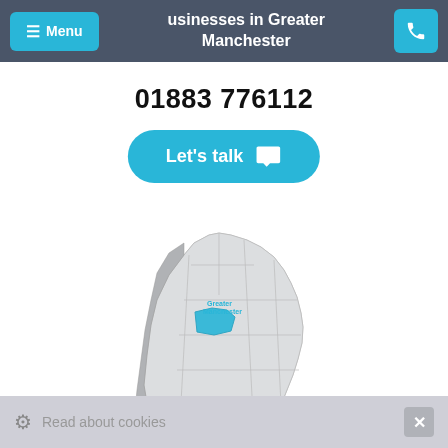businesses in Greater Manchester
01883 776112
Let's talk
[Figure (map): 3D map of England with Greater Manchester region highlighted in blue]
Read about cookies